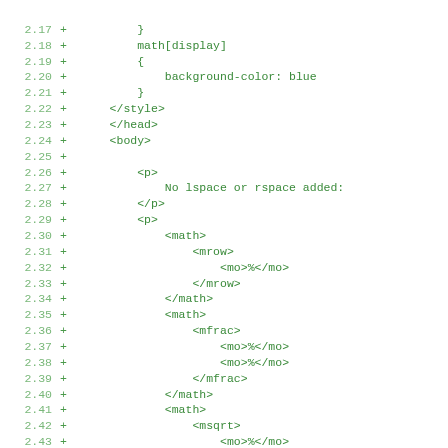2.17  +      }
2.18  +      math[display]
2.19  +      {
2.20  +          background-color: blue
2.21  +      }
2.22  +    </style>
2.23  +    </head>
2.24  +    <body>
2.25  +
2.26  +      <p>
2.27  +          No lspace or rspace added:
2.28  +      </p>
2.29  +      <p>
2.30  +          <math>
2.31  +              <mrow>
2.32  +                  <mo>%</mo>
2.33  +              </mrow>
2.34  +          </math>
2.35  +          <math>
2.36  +              <mfrac>
2.37  +                  <mo>%</mo>
2.38  +                  <mo>%</mo>
2.39  +              </mfrac>
2.40  +          </math>
2.41  +          <math>
2.42  +              <msqrt>
2.43  +                  <mo>%</mo>
2.44  +              </msqrt>
2.45  +          </math>
2.46  +          <math>
2.47  +              <mroot>
2.48  +                  <mo>%</mo>